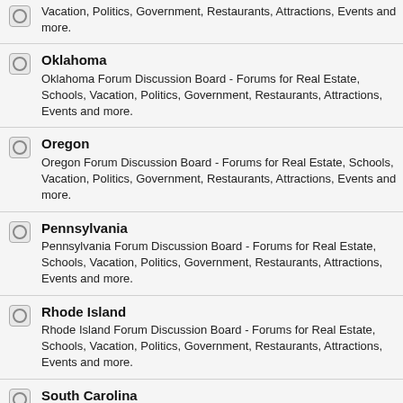Vacation, Politics, Government, Restaurants, Attractions, Events and more.
Oklahoma
Oklahoma Forum Discussion Board - Forums for Real Estate, Schools, Vacation, Politics, Government, Restaurants, Attractions, Events and more.
Oregon
Oregon Forum Discussion Board - Forums for Real Estate, Schools, Vacation, Politics, Government, Restaurants, Attractions, Events and more.
Pennsylvania
Pennsylvania Forum Discussion Board - Forums for Real Estate, Schools, Vacation, Politics, Government, Restaurants, Attractions, Events and more.
Rhode Island
Rhode Island Forum Discussion Board - Forums for Real Estate, Schools, Vacation, Politics, Government, Restaurants, Attractions, Events and more.
South Carolina
South Carolina Forum Discussion Board - Forums for Real Estate, Schools, Vacation, Politics, Government, Restaurants, Attractions, Events and more.
South Dakota
South Dakota Forum Discussion Board - Forums for Real Estate...